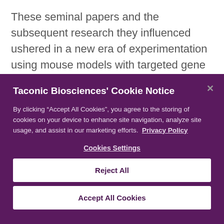These seminal papers and the subsequent research they influenced ushered in a new era of experimentation using mouse models with targeted gene mutations, conditional gene modifications, and transgenic gene expression.
Taconic Biosciences' Cookie Notice
By clicking "Accept All Cookies", you agree to the storing of cookies on your device to enhance site navigation, analyze site usage, and assist in our marketing efforts.  Privacy Policy
Cookies Settings
Reject All
Accept All Cookies